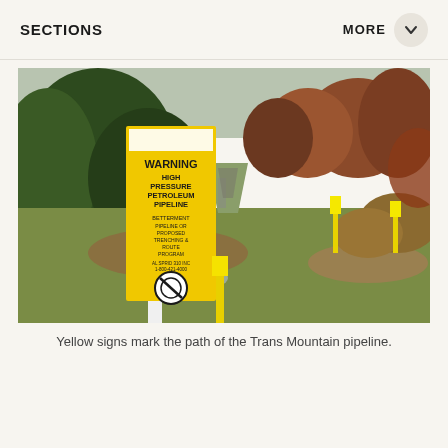SECTIONS    MORE
[Figure (photo): A yellow warning sign for a high pressure petroleum pipeline stands in a grassy field with a cleared pipeline right-of-way visible in the background cutting through forested hills. Additional yellow marker posts are visible in the field.]
Yellow signs mark the path of the Trans Mountain pipeline.